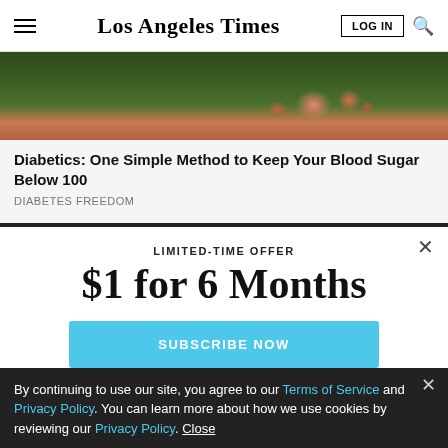Los Angeles Times
[Figure (photo): Close-up photo of tomatoes or round fruits on a plant with green grass/foliage background]
Diabetics: One Simple Method to Keep Your Blood Sugar Below 100
DIABETES FREEDOM
LIMITED-TIME OFFER
$1 for 6 Months
SUBSCRIBE NOW
By continuing to use our site, you agree to our Terms of Service and Privacy Policy. You can learn more about how we use cookies by reviewing our Privacy Policy. Close